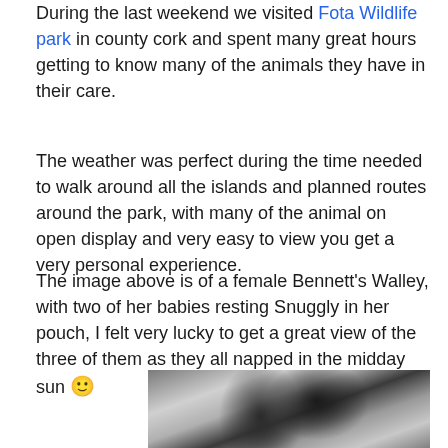During the last weekend we visited Fota Wildlife park in county cork and spent many great hours getting to know many of the animals they have in their care.
The weather was perfect during the time needed to walk around all the islands and planned routes around the park, with many of the animal on open display and very easy to view you get a very personal experience.
The image above is of a female Bennett's Walley, with two of her babies resting Snuggly in her pouch, I felt very lucky to get a great view of the three of them as they all napped in the midday sun 🙂
[Figure (photo): Close-up photo of a female Bennett's Wallaby with babies in her pouch, showing fur detail in black, white, and grey tones]